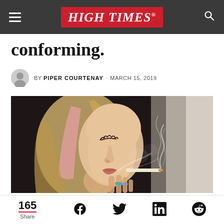HIGH TIMES
conforming.
BY PIPER COURTENAY · MARCH 15, 2019
[Figure (photo): Close-up photo of a young woman with blonde and pink hair smoking a joint, exhaling smoke, with rings on her fingers, dark moody background]
165 Share